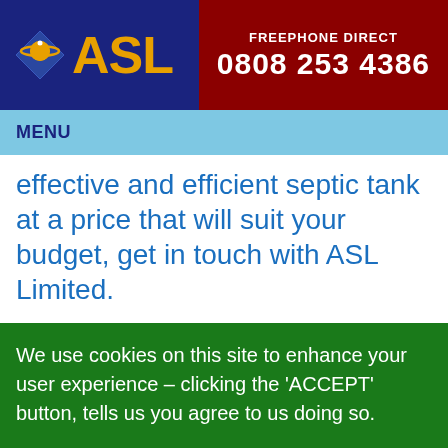ASL | FREEPHONE DIRECT 0808 253 4386
MENU
effective and efficient septic tank at a price that will suit your budget, get in touch with ASL Limited.
We use cookies on this site to enhance your user experience – clicking the 'ACCEPT' button, tells us you agree to us doing so.
You can read more information about our cookie policy via this link